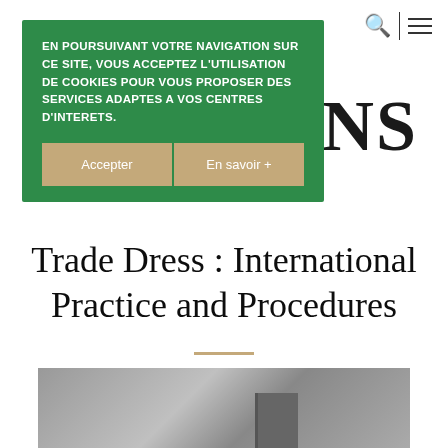EN POURSUIVANT VOTRE NAVIGATION SUR CE SITE, VOUS ACCEPTEZ L'UTILISATION DE COOKIES POUR VOUS PROPOSER DES SERVICES ADAPTES A VOS CENTRES D'INTERETS.
Trade Dress : International Practice and Procedures
[Figure (photo): Grayscale photograph partially visible at bottom of page, showing what appears to be a book or document]